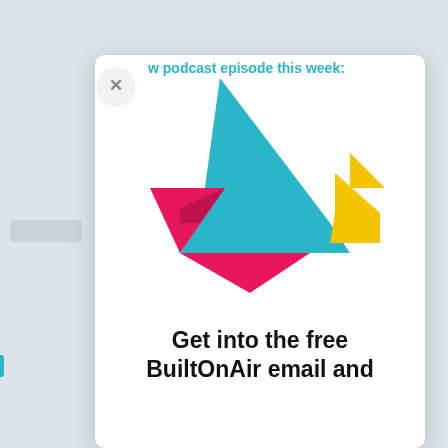w podcast episode this week:
[Figure (logo): BuiltOnAir origami bird logo made of geometric tangram-style shapes in cyan/blue, magenta/pink, and yellow]
Get into the free BuiltOnAir email and